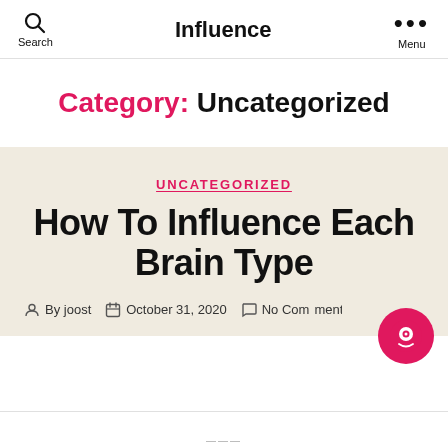Search   Influence   Menu
Category: Uncategorized
UNCATEGORIZED
How To Influence Each Brain Type
By joost   October 31, 2020   No Comments